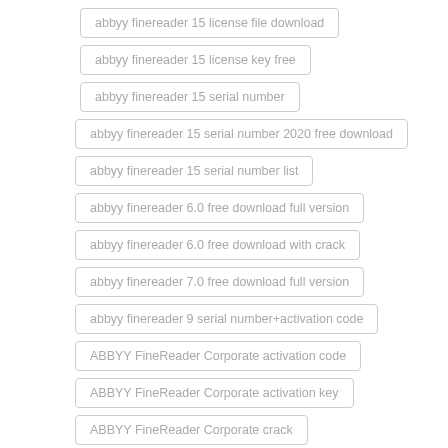abbyy finereader 15 license file download
abbyy finereader 15 license key free
abbyy finereader 15 serial number
abbyy finereader 15 serial number 2020 free download
abbyy finereader 15 serial number list
abbyy finereader 6.0 free download full version
abbyy finereader 6.0 free download with crack
abbyy finereader 7.0 free download full version
abbyy finereader 9 serial number+activation code
ABBYY FineReader Corporate activation code
ABBYY FineReader Corporate activation key
ABBYY FineReader Corporate crack